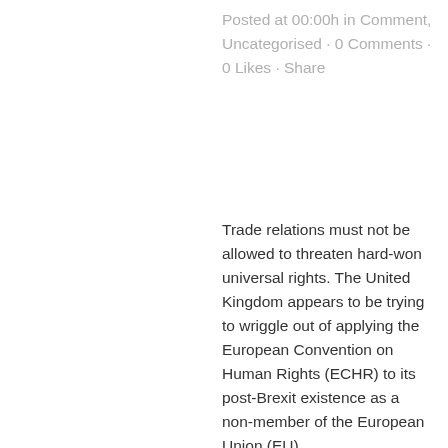Posted at 00:00h in Comment, Uncategorised · 0 Comments · 0 Likes · Share
Trade relations must not be allowed to threaten hard-won universal rights. The United Kingdom appears to be trying to wriggle out of applying the European Convention on Human Rights (ECHR) to its post-Brexit existence as a non-member of the European Union (EU).
READ MORE